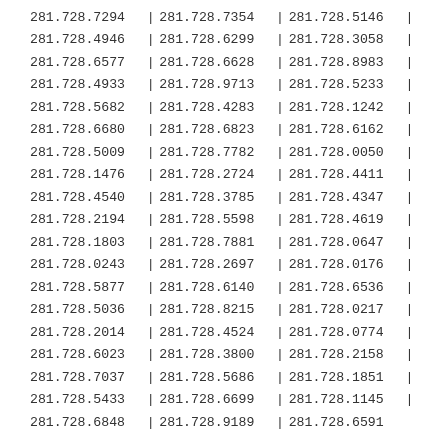281.728.7294 | 281.728.7354 | 281.728.5146 |
281.728.4946 | 281.728.6299 | 281.728.3058 |
281.728.6577 | 281.728.6628 | 281.728.8983 |
281.728.4933 | 281.728.9713 | 281.728.5233 |
281.728.5682 | 281.728.4283 | 281.728.1242 |
281.728.6680 | 281.728.6823 | 281.728.6162 |
281.728.5009 | 281.728.7782 | 281.728.0050 |
281.728.1476 | 281.728.2724 | 281.728.4411 |
281.728.4540 | 281.728.3785 | 281.728.4347 |
281.728.2194 | 281.728.5598 | 281.728.4619 |
281.728.1803 | 281.728.7881 | 281.728.0647 |
281.728.0243 | 281.728.2697 | 281.728.0176 |
281.728.5877 | 281.728.6140 | 281.728.6536 |
281.728.5036 | 281.728.8215 | 281.728.0217 |
281.728.2014 | 281.728.4524 | 281.728.0774 |
281.728.6023 | 281.728.3800 | 281.728.2158 |
281.728.7037 | 281.728.5686 | 281.728.1851 |
281.728.5433 | 281.728.6699 | 281.728.1145 |
281.728.6848 | 281.728.9189 | 281.728.6591 |